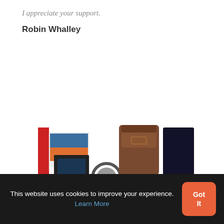I appreciate your support.
Robin Whalley
[Figure (photo): Product photo showing camera filter kit components on white background: red box packaging, a square filter holder, circular adapter ring, brown leather carrying case, and a dark square filter, arranged left to right.]
This website uses cookies to improve your experience. Learn More
Got It